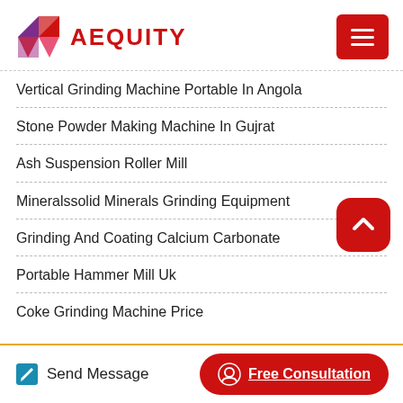[Figure (logo): Aequity logo with geometric diamond/arrow shape in red, pink, and purple, with red text AEQUITY]
Vertical Grinding Machine Portable In Angola
Stone Powder Making Machine In Gujrat
Ash Suspension Roller Mill
Mineralssolid Minerals Grinding Equipment
Grinding And Coating Calcium Carbonate
Portable Hammer Mill Uk
Coke Grinding Machine Price
Send Message
Free Consultation